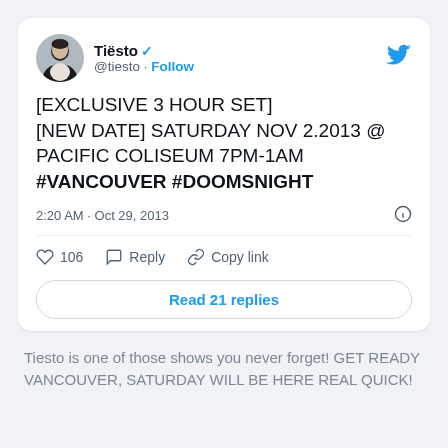[Figure (screenshot): Twitter/X screenshot of Tiesto tweet: '[EXCLUSIVE 3 HOUR SET] [NEW DATE] SATURDAY NOV 2.2013 @ PACIFIC COLISEUM 7PM-1AM #VANCOUVER #DOOMSNIGHT' posted at 2:20 AM · Oct 29, 2013, with 106 likes, Reply, Copy link actions, and Read 21 replies button.]
Tiesto is one of those shows you never forget! GET READY VANCOUVER, SATURDAY WILL BE HERE REAL QUICK!